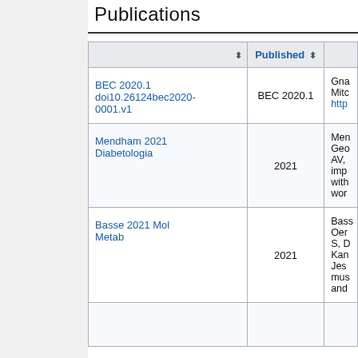Publications
|  | Published ⬍ |  |
| --- | --- | --- |
| BEC 2020.1 doi10.26124bec2020-0001.v1 | BEC 2020.1 | Gna... Mitc... http... |
| Mendham 2021 Diabetologia | 2021 | Men... Geo... AV, ... imp... with... wor... |
| Basse 2021 Mol Metab | 2021 | Bass... Oer... S, D... Kan... Jes... mus... and... |